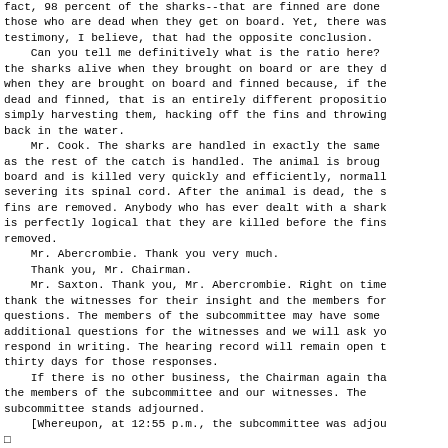fact, 98 percent of the sharks--that are finned are done those who are dead when they get on board. Yet, there was testimony, I believe, that had the opposite conclusion.
    Can you tell me definitively what is the ratio here? the sharks alive when they brought on board or are they d when they are brought on board and finned because, if the dead and finned, that is an entirely different propositio simply harvesting them, hacking off the fins and throwing back in the water.
    Mr. Cook. The sharks are handled in exactly the same as the rest of the catch is handled. The animal is broug board and is killed very quickly and efficiently, normall severing its spinal cord. After the animal is dead, the s fins are removed. Anybody who has ever dealt with a shark is perfectly logical that they are killed before the fins removed.
    Mr. Abercrombie. Thank you very much.
    Thank you, Mr. Chairman.
    Mr. Saxton. Thank you, Mr. Abercrombie. Right on time thank the witnesses for their insight and the members for questions. The members of the subcommittee may have some additional questions for the witnesses and we will ask yo respond in writing. The hearing record will remain open t thirty days for those responses.
    If there is no other business, the Chairman again tha the members of the subcommittee and our witnesses. The subcommittee stands adjourned.
    [Whereupon, at 12:55 p.m., the subcommittee was adjou
□